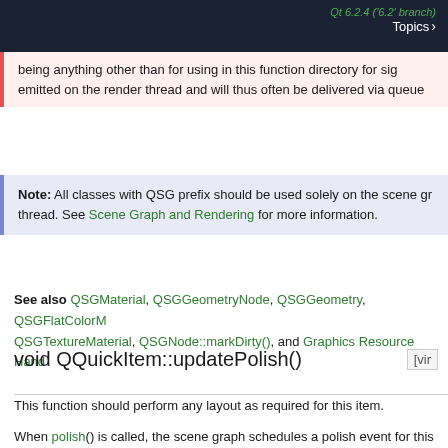Qt 6.2.4 ('6.2' branch) Topics >
being anything other than for using in this function directory for signals emitted on the render thread and will thus often be delivered via queue
Note: All classes with QSG prefix should be used solely on the scene gr... thread. See Scene Graph and Rendering for more information.
See also QSGMaterial, QSGGeometryNode, QSGGeometry, QSGFlatColorM... QSGTextureMaterial, QSGNode::markDirty(), and Graphics Resource Hand...
void QQuickItem::updatePolish() [vir
This function should perform any layout as required for this item.
When polish() is called, the scene graph schedules a polish event for this... graph is ready to render this item, it calls updatePolish() to do any item la... it renders the next frame.